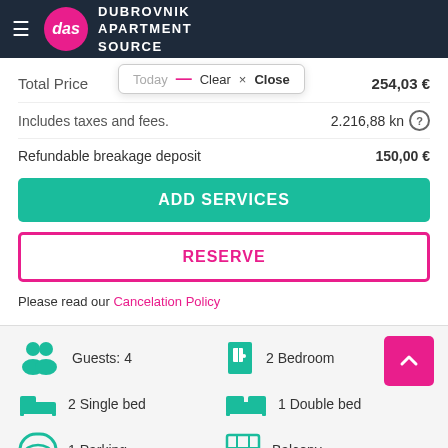Dubrovnik Apartment Source
Total Price  254,03 €
Includes taxes and fees.  2.216,88 kn
Refundable breakage deposit  150,00 €
ADD SERVICES
RESERVE
Please read our Cancelation Policy
Guests: 4
2 Bedroom
2 Single bed
1 Double bed
1 Parking
Balcony